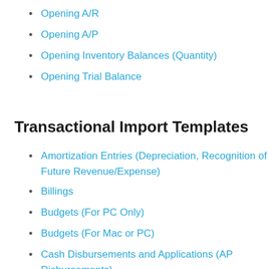Opening A/R
Opening A/P
Opening Inventory Balances (Quantity)
Opening Trial Balance
Transactional Import Templates
Amortization Entries (Depreciation, Recognition of Future Revenue/Expense)
Billings
Budgets (For PC Only)
Budgets (For Mac or PC)
Cash Disbursements and Applications (AP Disbursements)
Cash Receipts and Cash Applications (Billing Cash Receipts)
Expense Reports
Inventory Balance and Inventory Movements